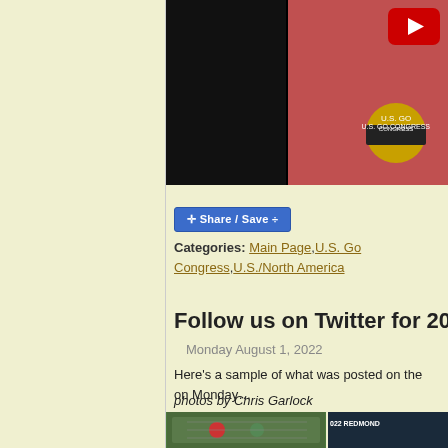[Figure (photo): YouTube video thumbnail showing a person in a pink U.S. Go Congress shirt with black background on left side. YouTube play button logo visible in upper right.]
Share / Save
Categories: Main Page, U.S. Go Congress, U.S./North America
Follow us on Twitter for 2022 G
Monday August 1, 2022
Here's a sample of what was posted on the on Monday…
photos by Chris Garlock
[Figure (photo): Two thumbnail photos at bottom: left shows people playing Go at a table, right shows a Go board with text '022 REDMOND']